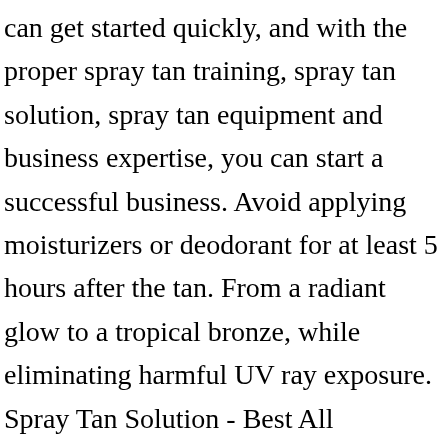can get started quickly, and with the proper spray tan training, spray tan solution, spray tan equipment and business expertise, you can start a successful business. Avoid applying moisturizers or deodorant for at least 5 hours after the tan. From a radiant glow to a tropical bronze, while eliminating harmful UV ray exposure. Spray Tan Solution - Best All Natural/Organic Spray Tan Solution. ORganic Spray tan - $20 | Enhance Add ons - $5. At Aviva Labs, we have helped pave the way for thousands of salons, spas, and mobile spray tan businesses. With Covid we